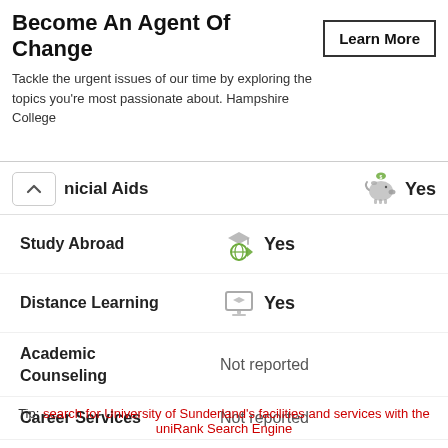Become An Agent Of Change
Tackle the urgent issues of our time by exploring the topics you're most passionate about. Hampshire College
Learn More
Financial Aids   Yes
Study Abroad   Yes
Distance Learning   Yes
Academic Counseling   Not reported
Career Services   Not reported
Institutional Hospital   Not reported
Tip: search for University of Sunderland's facilities and services with the uniRank Search Engine